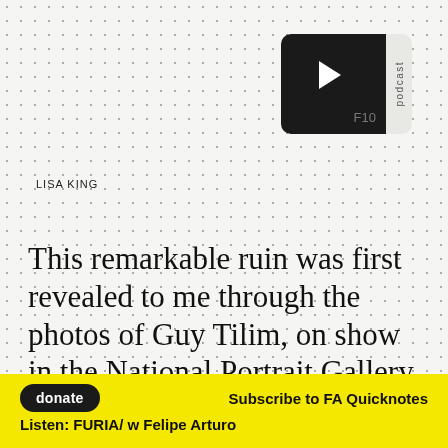[Figure (other): Podcast widget with black rounded square showing a play button icon and 'F10' label, with a grey 'podcast' tab on the right]
LISA KING
This remarkable ruin was first revealed to me through the photos of Guy Tilim, on show in the National Portrait Gallery. The photographer himself notes; ‘How strange that modernism, which eschewed monument and past for nature and future, should carry such memory so well’. Given over to the haunting nature of desolate cities, dominated by the presence of these concrete monoliths, I was overcome by ruin lust; seduced by
donate   Subscribe to FA Quicknotes
Listen: FURIA/ w Felipe Arturo